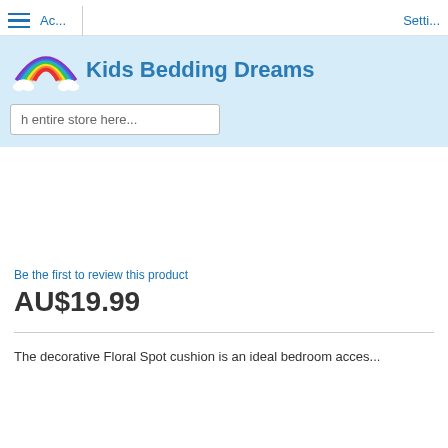Kids Bedding Dreams — Account | Settings
[Figure (logo): Kids Bedding Dreams rainbow logo with clouds and colorful arc, beside bold blue text 'Kids Bedding Dreams']
h entire store here...
Be the first to review this product
AU$19.99
The decorative Floral Spot cushion is an ideal bedroom acces...